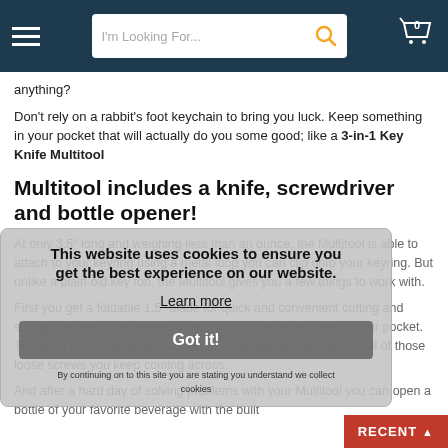Navigation bar with hamburger menu, search box 'I'm Looking For...', and shopping cart icon with 0 items
anything?
Don't rely on a rabbit's foot keychain to bring you luck. Keep something in your pocket that will actually do you some good; like a 3-in-1 Key Knife Multitool
Multitool includes a knife, screwdriver and bottle opener!
At only 3.5" long and weighing less than an ounce, the Multitool is able to attach to your keyring using a metal loop you can clip onto your keyring. But unlike a plain old key fob, the Multitool gives you a few things to work with.
This website uses cookies to ensure you get the best experience on our website.
Learn more
Got it!
By continuing on to this site you are stating you understand we collect cookies
First you get a foldable 1.5" blade for quick and convenient cutting and slicing. You won't be stymied by any box or carton with this in your pocket. The tip of the Multitool also serves at a flathead screwdriver for all of those loose screws you keep coming across.
And after a hard day of solving problems with your Multitool you can open a bottle of your favorite beverage with the built
RECENT ▲